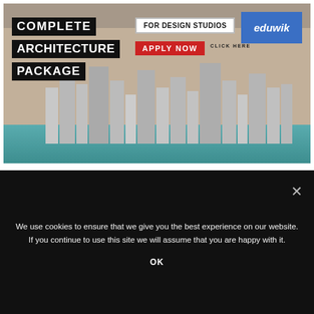[Figure (infographic): Eduwik advertisement banner for 'Complete Architecture Package' for design studios. Shows black text blocks on left reading COMPLETE / ARCHITECTURE / PACKAGE, a white box reading FOR DESIGN STUDIOS, a red APPLY NOW button with CLICK HERE label, a blue banner with Eduwik logo, and a city skyline illustration at the bottom.]
ARCHITECTS
ARCHITECTURAL
BUILDING
DESIGNERS
DRAWING
PERSPECTIVE
We use cookies to ensure that we give you the best experience on our website. If you continue to use this site we will assume that you are happy with it.
OK